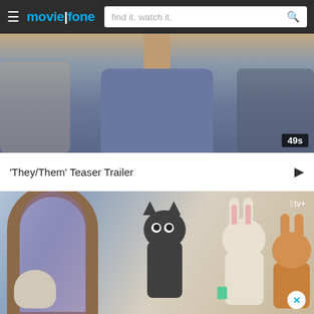moviefone — find it. watch it.
[Figure (screenshot): Video thumbnail showing person in blue-grey shirt, duration badge showing 49s]
'They/Them' Teaser Trailer
[Figure (screenshot): Apple TV+ animated film thumbnail showing cartoon cat and rabbit characters in an indoor scene]